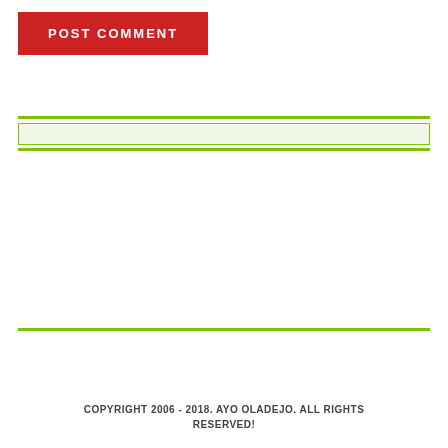[Figure (other): Red button labeled POST COMMENT in white bold uppercase letters]
[Figure (other): Green horizontal divider bar at top of content section]
[Figure (other): Light green input/search field with green border]
[Figure (other): Green horizontal divider bar below input field]
[Figure (other): Green horizontal divider bar at bottom of content section]
AYO OLADEJO
COPYRIGHT 2006 - 2018. AYO OLADEJO. ALL RIGHTS RESERVED!